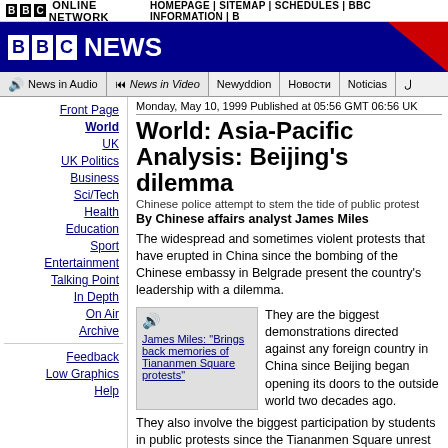BBC ONLINE NETWORK | HOMEPAGE | SITEMAP | SCHEDULES | BBC INFORMATION
[Figure (logo): BBC News banner logo with dark blue background and red corner]
News in Audio | News in Video | Newyddion | Новости | Noticias
Front Page
World
UK
UK Politics
Business
Sci/Tech
Health
Education
Sport
Entertainment
Talking Point
In Depth
On Air
Archive
Feedback
Low Graphics
Help
Monday, May 10, 1999 Published at 05:56 GMT 06:56 UK
World: Asia-Pacific Analysis: Beijing's dilemma
Chinese police attempt to stem the tide of public protest
By Chinese affairs analyst James Miles
The widespread and sometimes violent protests that have erupted in China since the bombing of the Chinese embassy in Belgrade present the country's leadership with a dilemma.
[Figure (other): Audio icon with link: James Miles: "Brings back memories of Tiananmen Square protests"]
They are the biggest demonstrations directed against any foreign country in China since Beijing began opening its doors to the outside world two decades ago.
They also involve the biggest participation by students in public protests since the Tiananmen Square unrest of 1989.
Speaking to the American network NBC, the US...